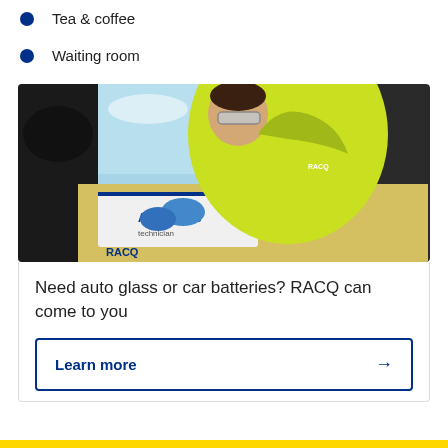Tea & coffee
Waiting room
[Figure (photo): RACQ Auto Glass technician in hi-vis yellow shirt and safety glasses leaning over windscreen working on a car, with RACQ Auto Glass branded equipment visible]
Need auto glass or car batteries? RACQ can come to you
Learn more →